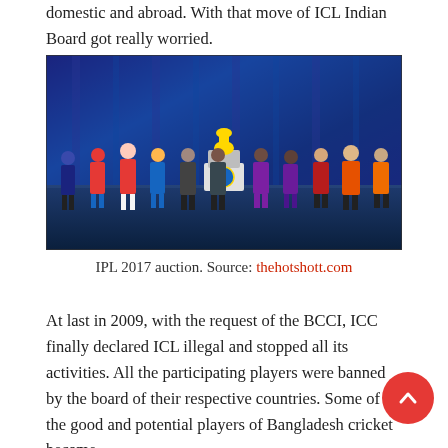domestic and abroad. With that move of ICL Indian Board got really worried.
[Figure (photo): Group photo of IPL 2017 team captains and officials standing on a stage in front of the IPL trophy with a blue curtain backdrop.]
IPL 2017 auction. Source: thehotshott.com
At last in 2009, with the request of the BCCI, ICC finally declared ICL illegal and stopped all its activities. All the participating players were banned by the board of their respective countries. Some of the good and potential players of Bangladesh cricket became